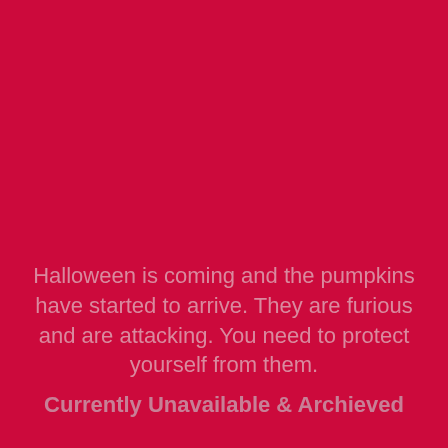Halloween is coming and the pumpkins have started to arrive. They are furious and are attacking. You need to protect yourself from them.
Currently Unavailable & Archieved